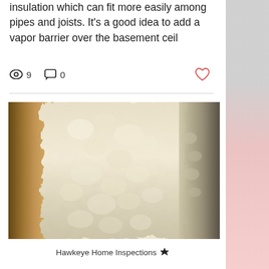insulation which can fit more easily among pipes and joists. It's a good idea to add a vapor barrier over the basement ceil
9   0
[Figure (photo): Close-up photo of spray foam insulation applied between structural elements, showing textured cream/beige colored foam surface with bumpy irregular texture]
Hawkeye Home Inspections 👑